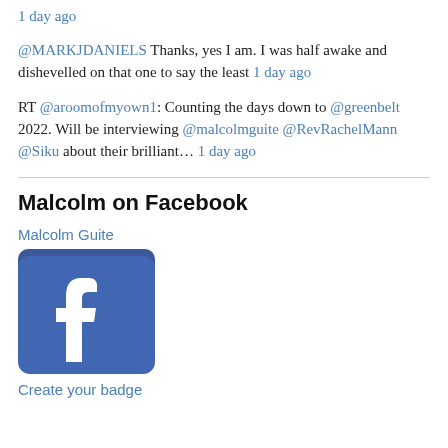1 day ago
@MARKJDANIELS Thanks, yes I am. I was half awake and dishevelled on that one to say the least 1 day ago
RT @aroomofmyown1: Counting the days down to @greenbelt 2022. Will be interviewing @malcolmguite @RevRachelMann @Siku about their brilliant… 1 day ago
Malcolm on Facebook
Malcolm Guite
[Figure (logo): Facebook logo — blue rounded square with white 'f' lettermark]
Create your badge